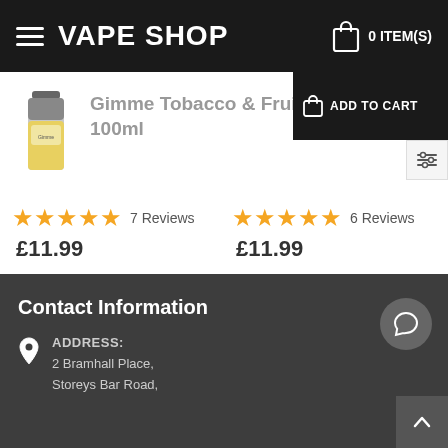VAPE SHOP 0 ITEM(S)
Gimme Tobacco & Fruit Short Fill - 100ml
7 Reviews £11.99
6 Reviews £11.99
Contact Information
ADDRESS:
2 Bramhall Place,
Storeys Bar Road,